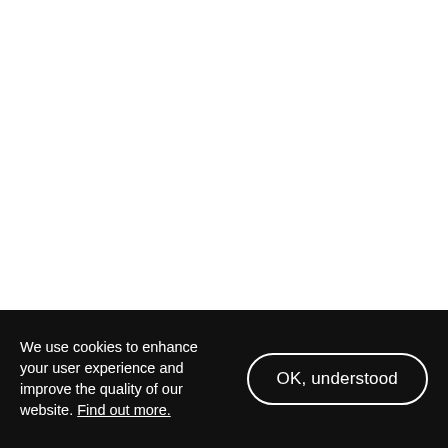We use cookies to enhance your user experience and improve the quality of our website. Find out more.
OK, understood